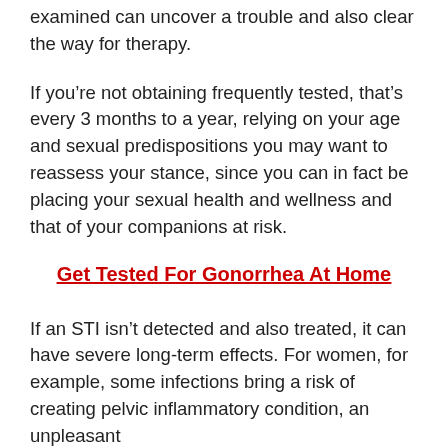examined can uncover a trouble and also clear the way for therapy.
If you’re not obtaining frequently tested, that’s every 3 months to a year, relying on your age and sexual predispositions you may want to reassess your stance, since you can in fact be placing your sexual health and wellness and that of your companions at risk.
Get Tested For Gonorrhea At Home
If an STI isn’t detected and also treated, it can have severe long-term effects. For women, for example, some infections bring a risk of creating pelvic inflammatory condition, an unpleasant